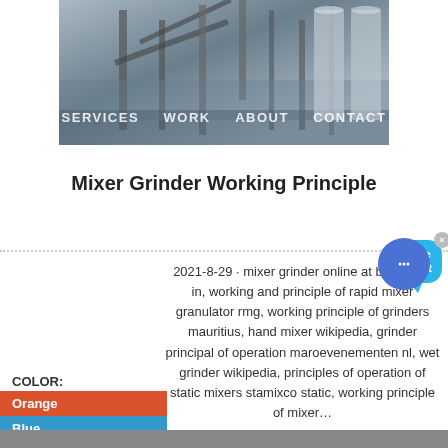[Figure (photo): Industrial machinery/conveyor equipment photo at top of page]
SERVICES   WORK   ABOUT   CONTACT
Mixer Grinder Working Principle
2021-8-29 · mixer grinder online at best price in, working and principle of rapid mixer granulator rmg, working principle of grinders mauritius, hand mixer wikipedia, grinder principal of operation maroevenementen nl, wet grinder wikipedia, principles of operation of static mixers stamixco static, working principle of mixer…
COLOR:
Orange
Blue
Yellow